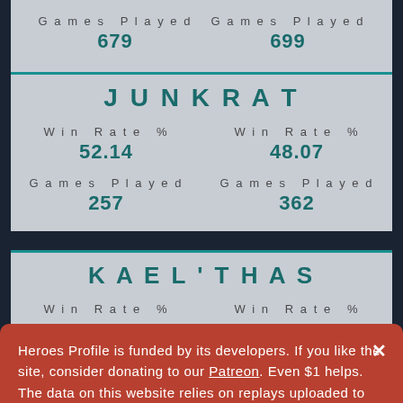Games Played 679
Games Played 699
JUNKRAT
Win Rate % 52.14
Win Rate % 48.07
Games Played 257
Games Played 362
KAEL'THAS
Win Rate %
Win Rate %
Heroes Profile is funded by its developers. If you like the site, consider donating to our Patreon. Even $1 helps. The data on this website relies on replays uploaded to Heroes Profile API. Make sure you go there to upload your data. If you do not upload your replays, your data will not be accurate.
This site uses cookies in order to store